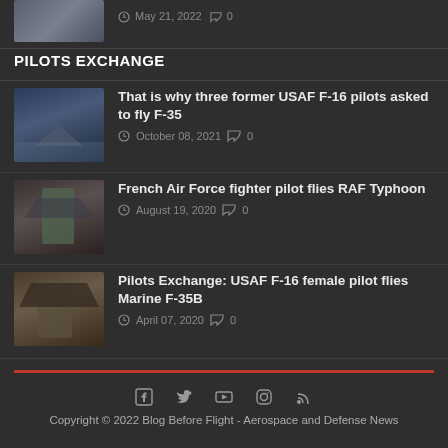[Figure (photo): Partial image of a military aircraft, cropped at top]
May 21, 2022  0
PILOTS EXCHANGE
[Figure (photo): F-35 fighter jet landing on aircraft carrier at dusk]
That is why three former USAF F-16 pilots asked to fly F-35
October 08, 2021  0
[Figure (photo): Female French Air Force pilot standing in front of RAF Typhoon aircraft]
French Air Force fighter pilot flies RAF Typhoon
August 19, 2020  0
[Figure (photo): Female USAF F-16 pilot standing next to Marine F-35B]
Pilots Exchange: USAF F-16 female pilot flies Marine F-35B
April 07, 2020  0
Copyright © 2022 Blog Before Flight - Aerospace and Defense News